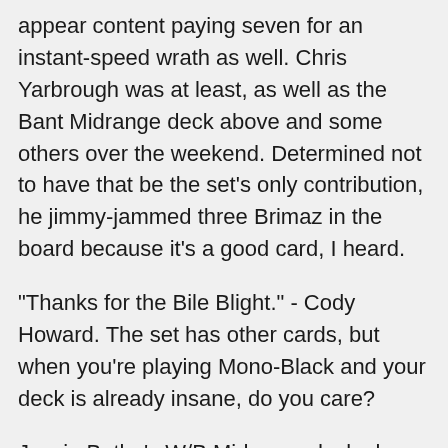appear content paying seven for an instant-speed wrath as well. Chris Yarbrough was at least, as well as the Bant Midrange deck above and some others over the weekend. Determined not to have that be the set's only contribution, he jimmy-jammed three Brimaz in the board because it's a good card, I heard.
"Thanks for the Bile Blight." - Cody Howard. The set has other cards, but when you're playing Mono-Black and your deck is already insane, do you care?
Jessie Butler's W/B Midrange deck also appreciates the Bile Blight, but would rather play Alms Beast than Brimaz. Talk about a budget beater.
Add Michael Majors to the list of strong, independent blue